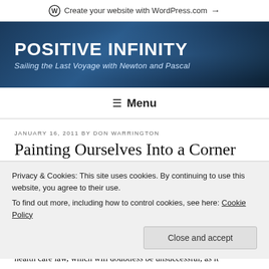Create your website with WordPress.com →
POSITIVE INFINITY
Sailing the Last Voyage with Newton and Pascal
≡ Menu
JANUARY 16, 2011 BY DON WARRINGTON
Painting Ourselves Into a Corner on the Constitution
Privacy & Cookies: This site uses cookies. By continuing to use this website, you agree to their use.
To find out more, including how to control cookies, see here: Cookie Policy
Close and accept
health care law, which will doubtless be unsuccessful, as it